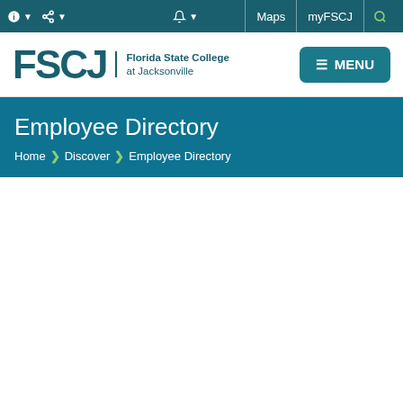FSCJ Florida State College at Jacksonville — Utility bar: Maps, myFSCJ, Search, Notifications
[Figure (logo): FSCJ Florida State College at Jacksonville logo with MENU button]
Employee Directory
Home > Discover > Employee Directory